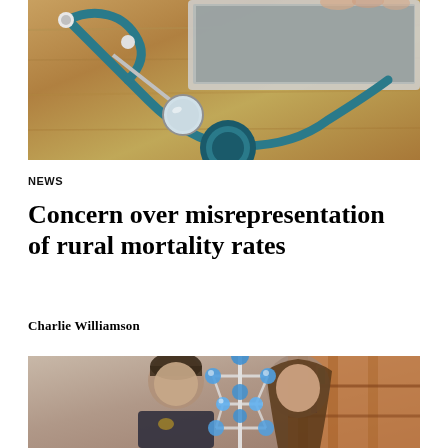[Figure (photo): Photo of a stethoscope and dental mirror on a wooden surface, with a laptop in the background]
NEWS
Concern over misrepresentation of rural mortality rates
Charlie Williamson
[Figure (photo): Photo of two people in a laboratory or classroom setting, with a molecular model structure visible]